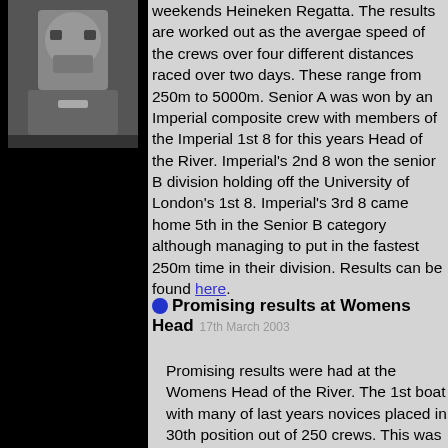[Figure (photo): Black and white photo of a rowing crew on the water]
weekends Heineken Regatta. The results are worked out as the avergae speed of the crews over four different distances raced over two days. These range from 250m to 5000m. Senior A was won by an Imperial composite crew with members of the Imperial 1st 8 for this years Head of the River. Imperial's 2nd 8 won the senior B division holding off the University of London's 1st 8. Imperial's 3rd 8 came home 5th in the Senior B category although managing to put in the fastest 250m time in their division. Results can be found here.
Promising results at Womens Head  17th March 2003
Promising results were had at the Womens Head of the River. The 1st boat with many of last years novices placed in 30th position out of 250 crews. This was